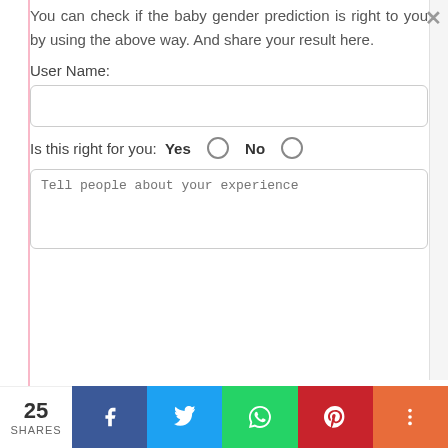You can check if the baby gender prediction is right to you by using the above way. And share your result here.
User Name:
Is this right for you: Yes  No
Tell people about your experience
25 SHARES | Facebook | Twitter | WhatsApp | Pinterest | More